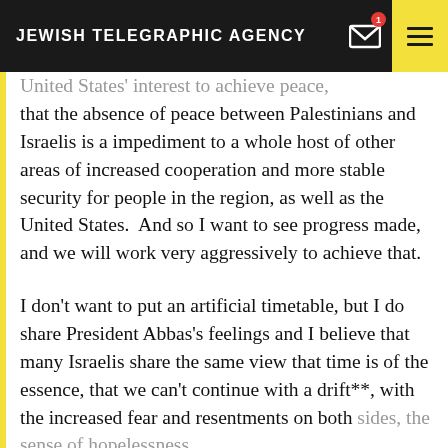JEWISH TELEGRAPHIC AGENCY
United States' interest to achieve peace, that the absence of peace between Palestinians and Israelis is a impediment to a whole host of other areas of increased cooperation and more stable security for people in the region, as well as the United States.  And so I want to see progress made, and we will work very aggressively to achieve that.
I don't want to put an artificial timetable, but I do share President Abbas's feelings and I believe that many Israelis share the same view that time is of the essence, that we can't continue with a drift**, with the increased fear and resentments on both sides, the sense of hopelessness, and...